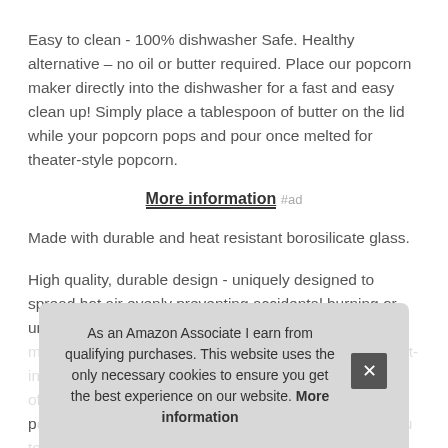Easy to clean - 100% dishwasher Safe. Healthy alternative – no oil or butter required. Place our popcorn maker directly into the dishwasher for a fast and easy clean up! Simply place a tablespoon of butter on the lid while your popcorn pops and pour once melted for theater-style popcorn.
More information #ad
Made with durable and heat resistant borosilicate glass.
High quality, durable design - uniquely designed to spread hot air evenly preventing accidental burning or unpopped kernels. Quic... pop... to p... che...
As an Amazon Associate I earn from qualifying purchases. This website uses the only necessary cookies to ensure you get the best experience on our website. More information